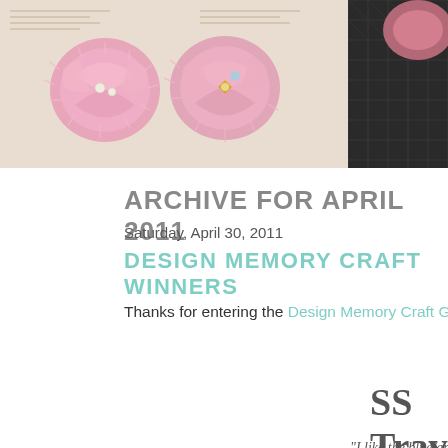[Figure (photo): Photo of pink fabric flowers with pearl and jewel embellishments on a newspaper background, partially cropped. A second image at the right edge shows dark netting with a pink element.]
ARCHIVE FOR APRIL 2011
Saturday, April 30, 2011
DESIGN MEMORY CRAFT WINNERS
Thanks for entering the Design Memory Craft Giveaway! The two winners of the kits are:
SS Travels
who said
"I like the blue/green gela
and